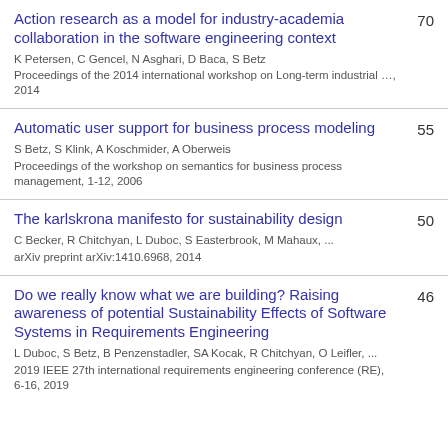Action research as a model for industry-academia collaboration in the software engineering context | K Petersen, C Gencel, N Asghari, D Baca, S Betz | Proceedings of the 2014 international workshop on Long-term industrial …, 2014 | 70
Automatic user support for business process modeling | S Betz, S Klink, A Koschmider, A Oberweis | Proceedings of the workshop on semantics for business process management, 1-12, 2006 | 55
The karlskrona manifesto for sustainability design | C Becker, R Chitchyan, L Duboc, S Easterbrook, M Mahaux, ... | arXiv preprint arXiv:1410.6968, 2014 | 50
Do we really know what we are building? Raising awareness of potential Sustainability Effects of Software Systems in Requirements Engineering | L Duboc, S Betz, B Penzenstadler, SA Kocak, R Chitchyan, O Leifler, ... | 2019 IEEE 27th international requirements engineering conference (RE), 6-16, 2019 | 46